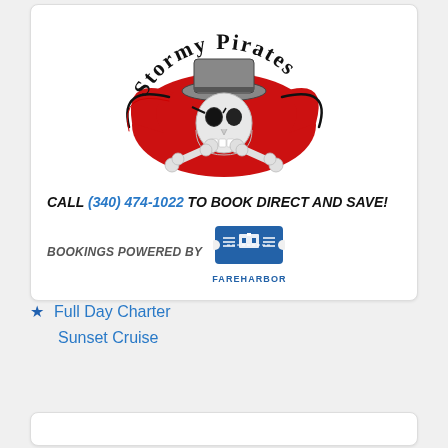[Figure (logo): Stormy Pirates logo: skull with pirate hat and crossbones on red flame/swoosh background, with arched text 'Stormy Pirates' above]
CALL (340) 474-1022 TO BOOK DIRECT AND SAVE!
[Figure (logo): FareHarbor bookings logo: blue ticket icon with building/harbor design and text 'FAREHARBOR' below]
BOOKINGS POWERED BY [FareHarbor logo]
Full Day Charter
Sunset Cruise